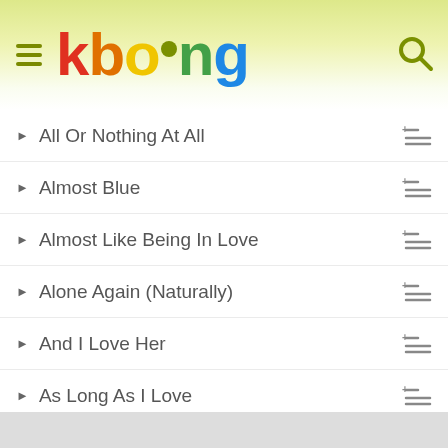kboing
All Or Nothing At All
Almost Blue
Almost Like Being In Love
Alone Again (Naturally)
And I Love Her
As Long As I Love